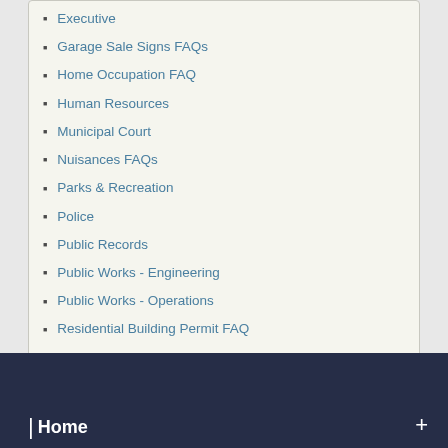Executive
Garage Sale Signs FAQs
Home Occupation FAQ
Human Resources
Municipal Court
Nuisances FAQs
Parks & Recreation
Police
Public Records
Public Works - Engineering
Public Works - Operations
Residential Building Permit FAQ
Shorelines FAQs
Special Events
Utilities
Vehicle and Traffic FAQ
Website Footer FAQs
Wetlands FAQs
Home